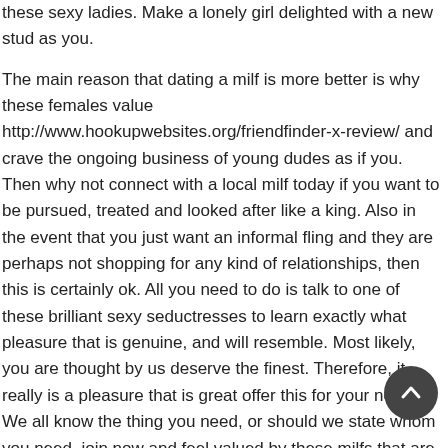these sexy ladies. Make a lonely girl delighted with a new stud as you.

The main reason that dating a milf is more better is why these females value http://www.hookupwebsites.org/friendfinder-x-review/ and crave the ongoing business of young dudes as if you. Then why not connect with a local milf today if you want to be pursued, treated and looked after like a king. Also in the event that you just want an informal fling and they are perhaps not shopping for any kind of relationships, then this is certainly ok. All you need to do is talk to one of these brilliant sexy seductresses to learn exactly what pleasure that is genuine, and will resemble. Most likely, you are thought by us deserve the finest. Therefore, it really is a pleasure that is great offer this for your needs. We all know the thing you need, or should we state whom you need, join now and feel valued by these milfs that are attractive.